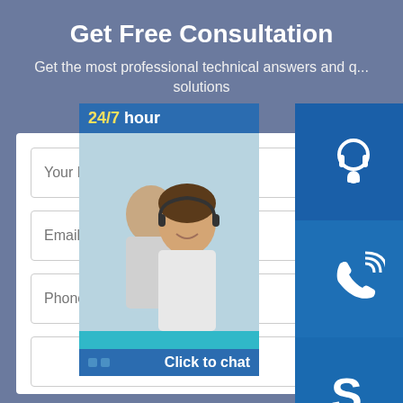Get Free Consultation
Get the most professional technical answers and quick solutions
[Figure (screenshot): Customer support widget showing 24/7 hours, photo of support agents, click to chat button, and icons for headset, phone, and Skype]
Your Name
Email
Phone